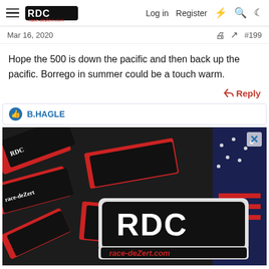race-dezert.com — Log in | Register
Mar 16, 2020  #199
Hope the 500 is down the pacific and then back up the pacific. Borrego in summer could be a touch warm.
Reply
B.HAGLE
[Figure (photo): Advertisement showing RDC race-dezert.com stickers/decals on a dark background with American flag imagery]